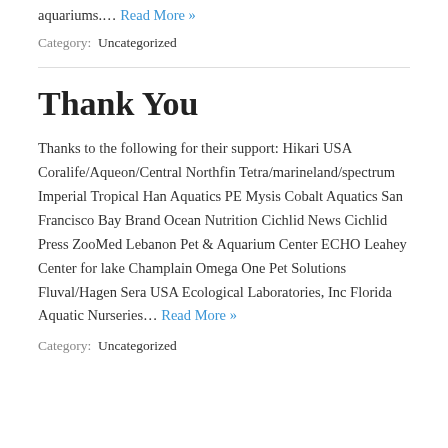aquariums.… Read More »
Category: Uncategorized
Thank You
Thanks to the following for their support: Hikari USA Coralife/Aqueon/Central Northfin Tetra/marineland/spectrum Imperial Tropical Han Aquatics PE Mysis Cobalt Aquatics San Francisco Bay Brand Ocean Nutrition Cichlid News Cichlid Press ZooMed Lebanon Pet & Aquarium Center ECHO Leahey Center for lake Champlain Omega One Pet Solutions Fluval/Hagen Sera USA Ecological Laboratories, Inc Florida Aquatic Nurseries… Read More »
Category: Uncategorized